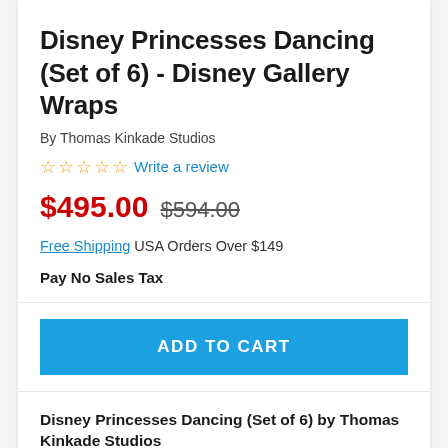Disney Princesses Dancing (Set of 6) - Disney Gallery Wraps
By Thomas Kinkade Studios
☆☆☆☆☆ Write a review
$495.00 $594.00
Free Shipping USA Orders Over $149
Pay No Sales Tax
ADD TO CART
Disney Princesses Dancing (Set of 6) by Thomas Kinkade Studios
Snow White, Jasmine, Belle, Aurora, Rapunzel, and Cinderella from Disney's Princess Portrait Collection...